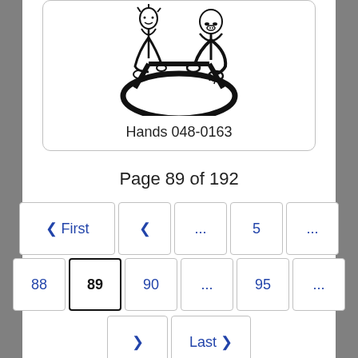[Figure (illustration): Black and white line drawing of two people arm wrestling over a steering wheel]
Hands 048-0163
Page 89 of 192
Navigation: First | < | ... | 5 | ... | 88 | 89 (current) | 90 | ... | 95 | ... | > | Last